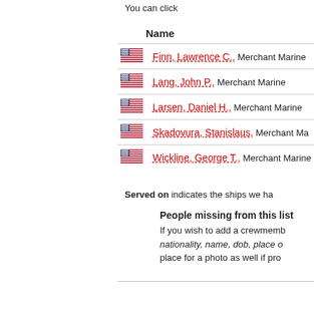You can click
|  | Name |
| --- | --- |
| [US flag] | Finn, Lawrence C., Merchant Marine |
| [US flag] | Lang, John P., Merchant Marine |
| [US flag] | Larsen, Daniel H., Merchant Marine |
| [US flag] | Skadovura, Stanislaus, Merchant Marine |
| [US flag] | Wickline, George T., Merchant Marine |
Served on indicates the ships we ha
People missing from this list
If you wish to add a crewmemb nationality, name, dob, place o place for a photo as well if pro